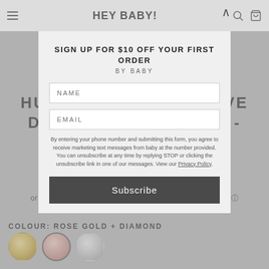HEY BABY!
HUGGIE WITH TINY PAVE DIAMOND STAR DROP - ROSE GOLD
$430.00
or 4 interest-free payments of $107.50 with afterpay
COLOUR: ROSE GOLD + DIAMOND
SIGN UP FOR $10 OFF YOUR FIRST ORDER
BY BABY
NAME
EMAIL
By entering your phone number and submitting this form, you agree to receive marketing text messages from baby at the number provided. You can unsubscribe at any time by replying STOP or clicking the unsubscribe link in one of our messages. View our Privacy Policy.
Subscribe